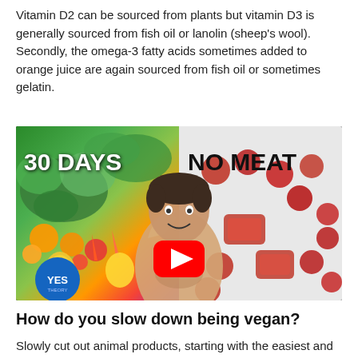Vitamin D2 can be sourced from plants but vitamin D3 is generally sourced from fish oil or lanolin (sheep's wool). Secondly, the omega-3 fatty acids sometimes added to orange juice are again sourced from fish oil or sometimes gelatin.
[Figure (other): YouTube video thumbnail showing a man holding vegetables on the left side and meat on the right side, with text '30 DAYS' on the left and 'NO MEAT' on the right, a YouTube play button in the center, and a 'YES THEORY' logo badge in the bottom left corner.]
How do you slow down being vegan?
Slowly cut out animal products, starting with the easiest and